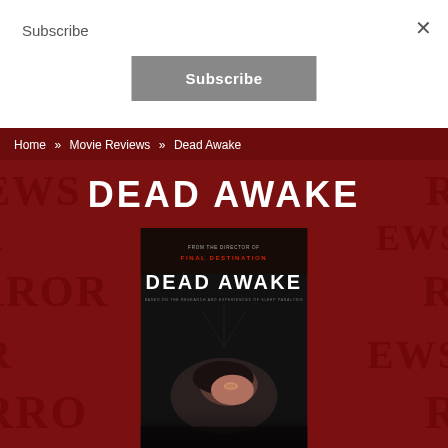Subscribe
×
Subscribe
Home » Movie Reviews » Dead Awake
DEAD AWAKE
[Figure (photo): Movie poster for Dead Awake — dark background with a woman lying down looking upward, text reading 'FROM THE DIRECTOR OF FINAL DESTINATION' and 'DEAD AWAKE' at top]